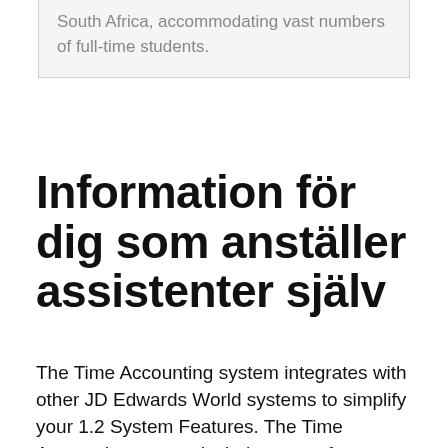South Africa, accommodating vast numbers of full-time students.
Information för dig som anställer assistenter själv
The Time Accounting system integrates with other JD Edwards World systems to simplify your 1.2 System Features. The Time Accounting system includes many features that you can adapt to meet the unique needs of 1.3 Terms and Concepts. Job Accounting Supervisor, Chief Credit Officer, Tutor and more on Indeed.com Part Time Accounting